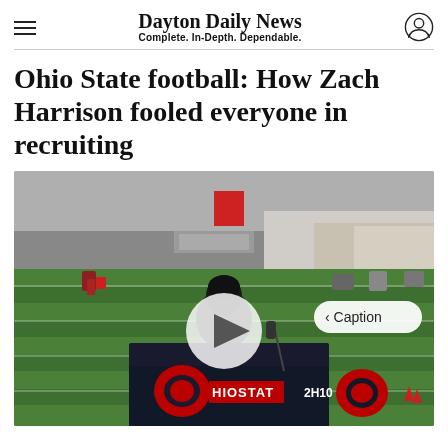Dayton Daily News — Complete. In-Depth. Dependable.
Ohio State football: How Zach Harrison fooled everyone in recruiting
[Figure (photo): Video screenshot of an Ohio State football indoor practice facility. A person sits at a table covered with an Ohio State branded tablecloth showing the Buckeye logo and 'OHIO STATE' text. A circular play button is overlaid in the center. A 'Caption' button appears in the upper right of the image. The background shows a green turf field with yard lines inside a large indoor facility.]